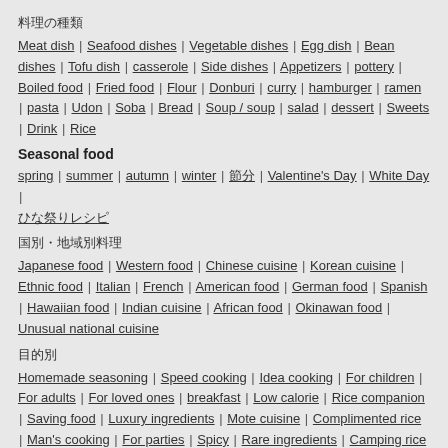料理の種類
Meat dish | Seafood dishes | Vegetable dishes | Egg dish | Bean dishes | Tofu dish | casserole | Side dishes | Appetizers | pottery | Boiled food | Fried food | Flour | Donburi | curry | hamburger | ramen | pasta | Udon | Soba | Bread | Soup / soup | salad | dessert | Sweets | Drink | Rice
Seasonal food
spring | summer | autumn | winter | 節分 | Valentine&#39;s Day | White Day | ひな祭りレシピ
国別・地域別料理
Japanese food | Western food | Chinese cuisine | Korean cuisine | Ethnic food | Italian | French | American food | German food | Spanish | Hawaiian food | Indian cuisine | African food | Okinawan food | Unusual national cuisine
目的別
Homemade seasoning | Speed cooking | Idea cooking | For children | For adults | For loved ones | breakfast | Low calorie | Rice companion | Saving food | Luxury ingredients | Mote cuisine | Complimented rice | Man&#39;s cooking | For parties | Spicy | Rare ingredients | Camping rice | organic | Vegan | Reproduction dish | diet | Low carb | Easy | Cafe food |